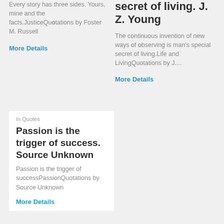Every story has three sides. Yours, mine and the facts.JusticeQuotations by Foster M. Russell
More Details
secret of living. J. Z. Young
The continuous invention of new ways of observing is man's special secret of living.Life and LivingQuotations by J....
More Details
In Quotes
Passion is the trigger of success. Source Unknown
Passion is the trigger of successPassionQuotations by Source Unknown
More Details